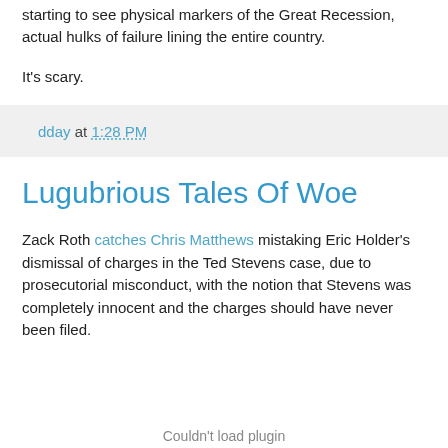starting to see physical markers of the Great Recession, actual hulks of failure lining the entire country.
It's scary.
dday at 1:28 PM
Lugubrious Tales Of Woe
Zack Roth catches Chris Matthews mistaking Eric Holder's dismissal of charges in the Ted Stevens case, due to prosecutorial misconduct, with the notion that Stevens was completely innocent and the charges should have never been filed.
Couldn't load plugin